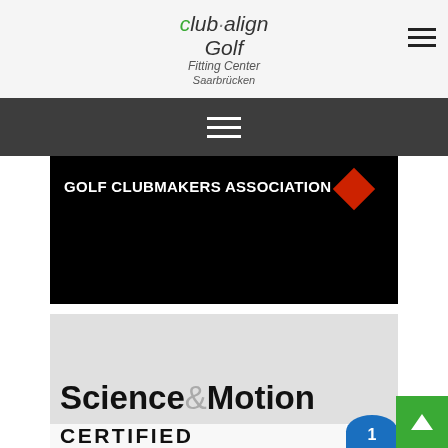clubalign Golf Fitting Center Saarbrücken
[Figure (screenshot): Navigation bar with hamburger menu icon on dark grey background]
[Figure (screenshot): Black banner image with text GOLF CLUBMAKERS ASSOCIATION and red diamond shape]
[Figure (screenshot): Light grey section showing Science & Motion text in bold black]
[Figure (screenshot): White section showing CERTIFIED text with blue badge partially visible]
[Figure (screenshot): Green back-to-top button with upward arrow in bottom right corner]